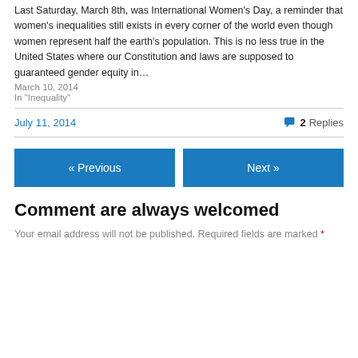Last Saturday, March 8th, was International Women's Day, a reminder that women's inequalities still exists in every corner of the world even though women represent half the earth's population.  This is no less true in the United States where our Constitution and laws are supposed to guaranteed gender equity in…
March 10, 2014
In "Inequality"
July 11, 2014
2 Replies
« Previous
Next »
Comment are always welcomed
Your email address will not be published. Required fields are marked *